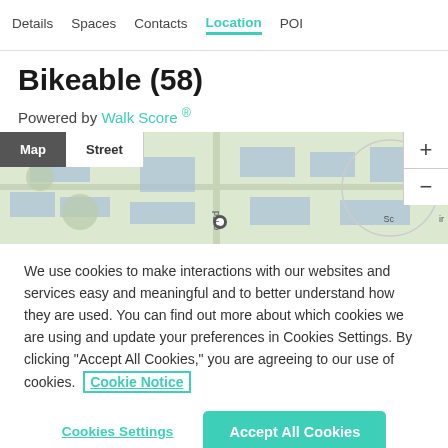Details  Spaces  Contacts  Location  POI
Bikeable (58)
Powered by Walk Score ®
[Figure (map): Street map showing location with Map/Street toggle buttons and zoom controls. Partial road labels visible: 'g Rd', 'Sc', 'ir'.]
We use cookies to make interactions with our websites and services easy and meaningful and to better understand how they are used. You can find out more about which cookies we are using and update your preferences in Cookies Settings. By clicking "Accept All Cookies," you are agreeing to our use of cookies.  Cookie Notice
Cookies Settings
Accept All Cookies